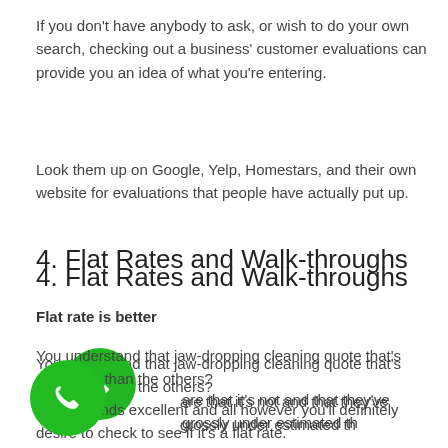If you don't have anybody to ask, or wish to do your own search, checking out a business' customer evaluations can provide you an idea of what you're entering.
Look them up on Google, Yelp, Homestars, and their own website for evaluations that people have actually put up.
4. Flat Rates and Walk-throughs
Flat rate is better
You understand that jaw-dropping cleaning quote that's €100 less than the others?
Yes it sounds excellent and all however you'll definitely desire to check to see if it's a flat rate.
are that it's not and that they've grossly under estimated th
[Figure (illustration): Green circular phone/call button icon in the bottom left corner]